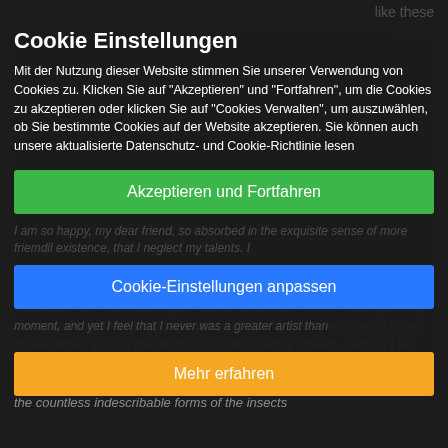Cookie Einstellungen
Mit der Nutzung dieser Website stimmen Sie unserer Verwendung von Cookies zu. Klicken Sie auf "Akzeptieren" und "Fortfahren", um die Cookies zu akzeptieren oder klicken Sie auf "Cookies Verwalten", um auszuwählen, ob Sie bestimmte Cookies auf der Website akzeptieren. Sie können auch unsere aktualisierte Datenschutz- und Cookie-Richtlinie lesen
Akzeptieren und Fortfahren
Cookie-Einstellungen anpassen
Mehr erfahren
and the meridian sun strikes the upper surface of the impenetrable foliage of my trees, and but a few stray gleams steal into the inner sanctuary, I throw myself down among the tall grass by the trickling stream; and, as I lie close to earth, a thousand unknown plants are noticed by me, when I hear the buzz of the little world among the stalks, and grow familiar with the countless indescribable forms of the insects